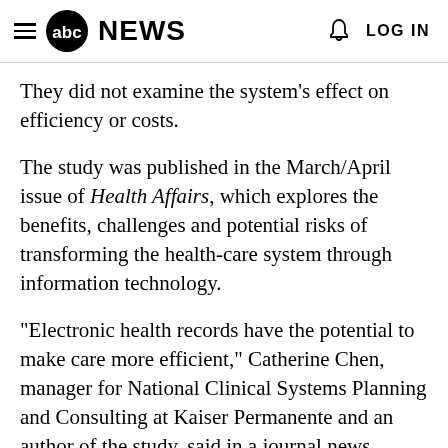abc NEWS   LOG IN
They did not examine the system's effect on efficiency or costs.
The study was published in the March/April issue of Health Affairs, which explores the benefits, challenges and potential risks of transforming the health-care system through information technology.
"Electronic health records have the potential to make care more efficient," Catherine Chen, manager for National Clinical Systems Planning and Consulting at Kaiser Permanente and an author of the study, said in a journal news release. "However, few